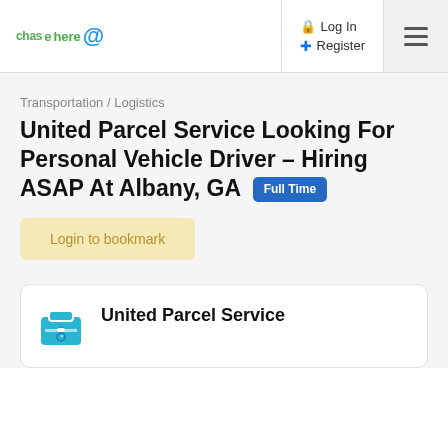chasehere.go — Log In | Register | Menu
Transportation / Logistics
United Parcel Service Looking For Personal Vehicle Driver – Hiring ASAP At Albany, GA  Full Time
Login to bookmark
United Parcel Service